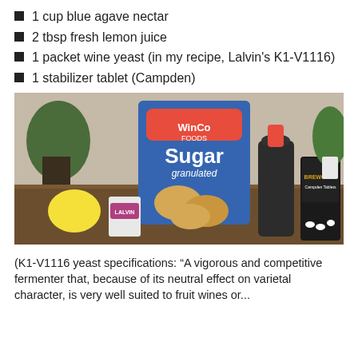1 cup blue agave nectar
2 tbsp fresh lemon juice
1 packet wine yeast (in my recipe, Lalvin's K1-V1116)
1 stabilizer tablet (Campden)
[Figure (photo): Ingredients on a wooden table: a lemon, a Lalvin yeast packet, a large WinCo Foods granulated sugar bag, a bottle of blue agave nectar, and a Brewcraft Campden tablet bag, with plants in the background.]
(K1-V1116 yeast specifications: “A vigorous and competitive fermenter that, because of its neutral effect on varietal character, is very well suited to fruit wines or...